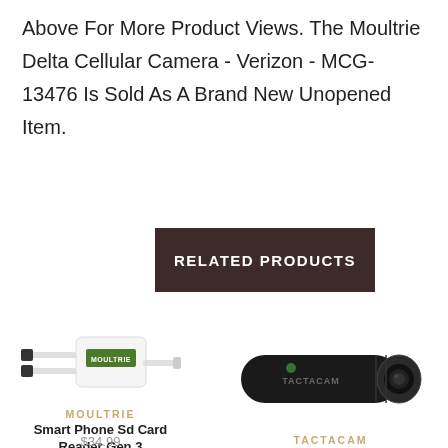Delta Cellular Camera - Verizon - MCG-13476 Battery Images Above For More Product Views. The Moultrie Delta Cellular Camera - Verizon - MCG-13476 Is Sold As A Brand New Unopened Item.
RELATED PRODUCTS
[Figure (photo): Moultrie Smart Phone SD Card Reader Gen 3 - white USB adapter device with Moultrie branding]
MOULTRIE
Smart Phone Sd Card Reader Gen 3
$34.99
[Figure (photo): Tactacam camera - black cylindrical action camera]
TACTACAM